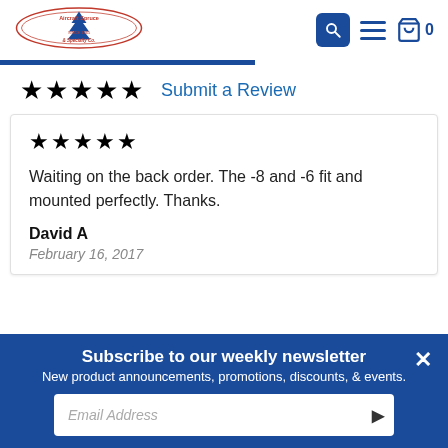[Figure (logo): Aircraft Spruce & Specialty Co. logo with tree emblem, established since 1965]
★★★★★  Submit a Review
★★★★★
Waiting on the back order. The -8 and -6 fit and mounted perfectly. Thanks.
David A
February 16, 2017
Subscribe to our weekly newsletter
New product announcements, promotions, discounts, & events.
Email Address